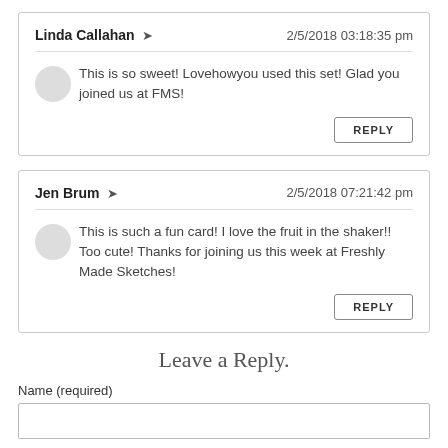Linda Callahan → 2/5/2018 03:18:35 pm
This is so sweet! Lovehowyou used this set! Glad you joined us at FMS!
REPLY
Jen Brum → 2/5/2018 07:21:42 pm
This is such a fun card! I love the fruit in the shaker!! Too cute! Thanks for joining us this week at Freshly Made Sketches!
REPLY
Leave a Reply.
Name (required)